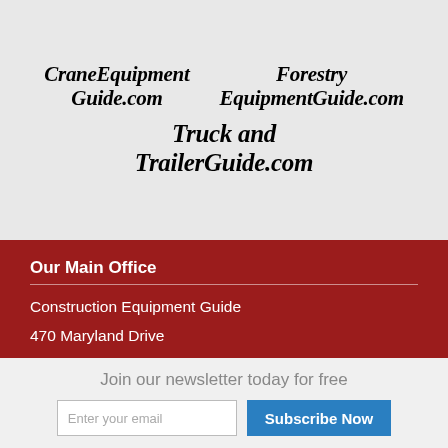[Figure (logo): CraneEquipmentGuide.com logo in bold italic serif font]
[Figure (logo): ForestryEquipmentGuide.com logo in bold italic serif font]
[Figure (logo): TruckandTrailerGuide.com logo in bold italic serif font, larger size]
Our Main Office
Construction Equipment Guide
470 Maryland Drive
Fort Washington, PA 19034
800-523-2200
About Us
Construction Equipment Guide covers the nation with its
Join our newsletter today for free
Enter your email
Subscribe Now